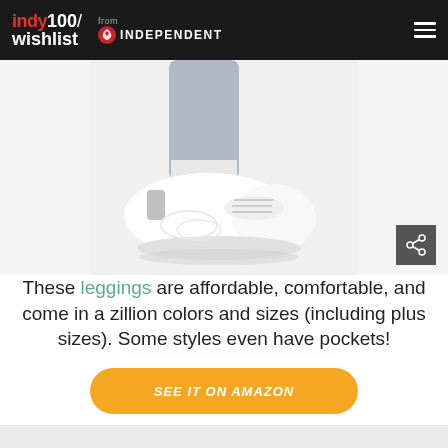indy100/ wishlist from INDEPENDENT
[Figure (photo): Close-up photo of a person's feet wearing white sneakers/trainers with a silver heel tab, against a light grey background. The person is wearing grey pants/leggings.]
These leggings are affordable, comfortable, and come in a zillion colors and sizes (including plus sizes). Some styles even have pockets!
SEE IT ON AMAZON